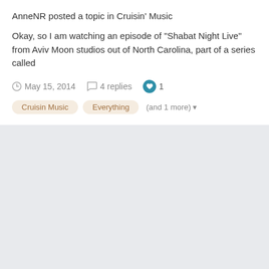AnneNR posted a topic in Cruisin' Music
Okay, so I am watching an episode of "Shabat Night Live" from Aviv Moon studios out of North Carolina, part of a series called
May 15, 2014   4 replies   1
Cruisin Music   Everything   (and 1 more)